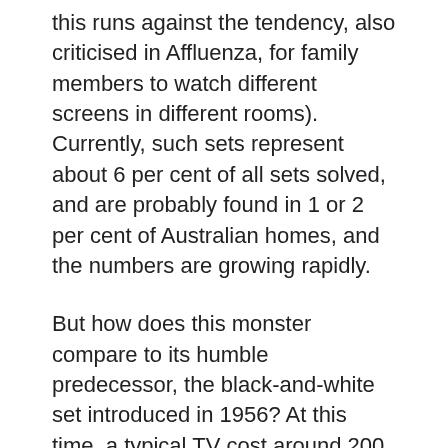this runs against the tendency, also criticised in Affluenza, for family members to watch different screens in different rooms). Currently, such sets represent about 6 per cent of all sets solved, and are probably found in 1 or 2 per cent of Australian homes, and the numbers are growing rapidly.
But how does this monster compare to its humble predecessor, the black-and-white set introduced in 1956? At this time, a typical TV cost around 200 pounds or three months earnings for an average worker, yet within a year of the launch, 26 per cent of Melbourne households had acquired one. As with plasma sets in 2004, the Olympic Games gave a big boost. And, as in 2004, the effect of TV on household layout and family interaction was widely noted, and widely deplored. Clearly thereâ€™s